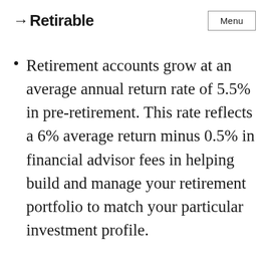→Retirable  Menu
Retirement accounts grow at an average annual return rate of 5.5% in pre-retirement. This rate reflects a 6% average return minus 0.5% in financial advisor fees in helping build and manage your retirement portfolio to match your particular investment profile.